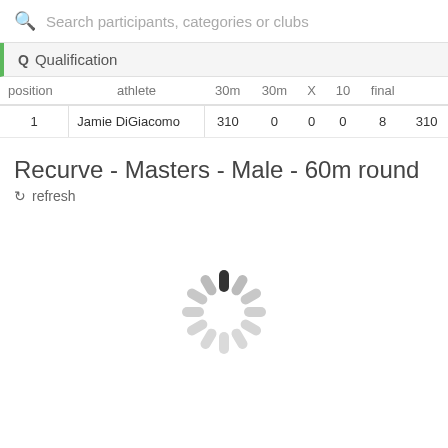Search participants, categories or clubs
Q  Qualification
| position | athlete | 30m | 30m | X | 10 | final |
| --- | --- | --- | --- | --- | --- | --- |
| 1 | Jamie DiGiacomo | 310 | 0 | 0 | 0 | 8 | 310 |
Recurve - Masters - Male - 60m round
refresh
[Figure (other): Loading spinner animation shown as grey dashes arranged in a circle]